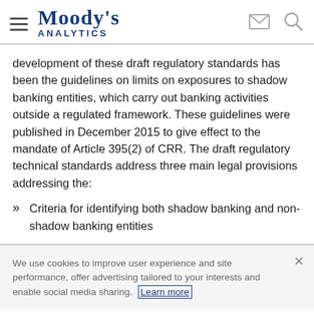Moody's Analytics
development of these draft regulatory standards has been the guidelines on limits on exposures to shadow banking entities, which carry out banking activities outside a regulated framework. These guidelines were published in December 2015 to give effect to the mandate of Article 395(2) of CRR. The draft regulatory technical standards address three main legal provisions addressing the:
Criteria for identifying both shadow banking and non-shadow banking entities
We use cookies to improve user experience and site performance, offer advertising tailored to your interests and enable social media sharing. Learn more